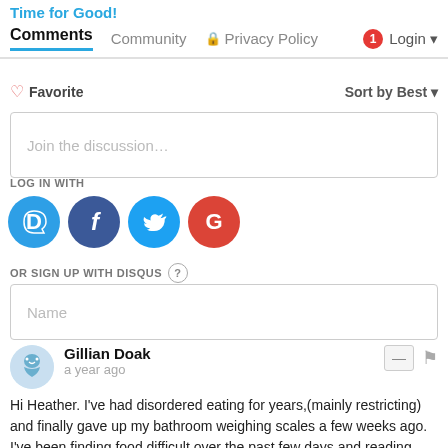Time for Good!
Comments  Community  Privacy Policy  1  Login
Favorite  Sort by Best
Join the discussion...
LOG IN WITH
[Figure (other): Social login icons: Disqus (D), Facebook (f), Twitter bird, Google (G)]
OR SIGN UP WITH DISQUS ?
Name
Gillian Doak
a year ago
Hi Heather. I've had disordered eating for years,(mainly restricting) and finally gave up my bathroom weighing scales a few weeks ago. I've been finding food difficult over the past few days and reading your article has given me a little boost to say